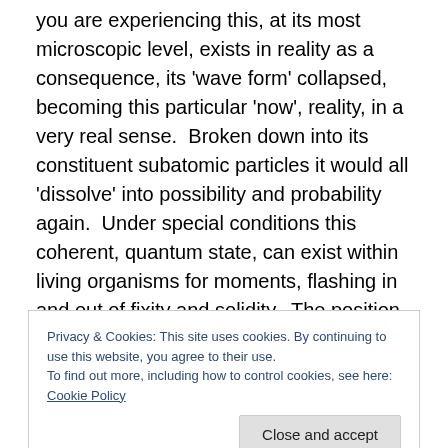you are experiencing this, at its most microscopic level, exists in reality as a consequence, its 'wave form' collapsed, becoming this particular 'now', reality, in a very real sense.  Broken down into its constituent subatomic particles it would all 'dissolve' into possibility and probability again.  Under special conditions this coherent, quantum state, can exist within living organisms for moments, flashing in and out of fixity and solidity.  The position and velocity of quanta can only be determined by, what physicists call the act of observation, that observation causes sudden limitation, but not just the act
Privacy & Cookies: This site uses cookies. By continuing to use this website, you agree to their use.
To find out more, including how to control cookies, see here: Cookie Policy